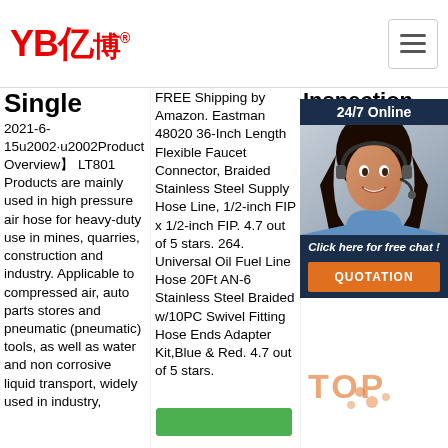[Figure (logo): YB亿博 logo in red with registered trademark symbol]
[Figure (other): Hamburger menu icon button]
Single
2021-6-15u2002·u2002Product Overview】 LT801 Products are mainly used in high pressure air hose for heavy-duty use in mines, quarries, construction and industry. Applicable to compressed air, auto parts stores and pneumatic (pneumatic) tools, as well as water and non corrosive liquid transport, widely used in industry,
FREE Shipping by Amazon. Eastman 48020 36-Inch Length Flexible Faucet Connector, Braided Stainless Steel Supply Hose Line, 1/2-inch FIP x 1/2-inch FIP. 4.7 out of 5 stars. 264. Universal Oil Fuel Line Hose 20Ft AN-6 Stainless Steel Braided w/10PC Swivel Fitting Hose Ends Adapter Kit,Blue & Red. 4.7 out of 5 stars.
Inspection - U
Bra tra fro the effe per brai wit tre and machines can ascertain that the hoses for those fluids meet automotive safety and performance standards by identifying any
[Figure (photo): Chat support widget with woman wearing headset, 24/7 Online label, Click here for free chat text, and QUOTATION button on dark navy background]
[Figure (other): TOP watermark/logo in orange color at bottom right]